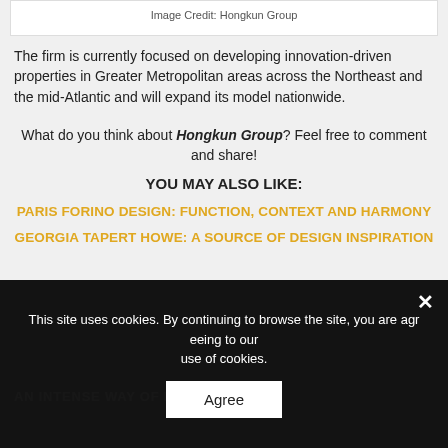Image Credit: Hongkun Group
The firm is currently focused on developing innovation-driven properties in Greater Metropolitan areas across the Northeast and the mid-Atlantic and will expand its model nationwide.
What do you think about Hongkun Group? Feel free to comment and share!
YOU MAY ALSO LIKE:
PARIS FORINO DESIGN: FUNCTION, CONTEXT AND HARMONY
GEORGIA TAPERT HOWE: A SOURCE OF DESIGN INSPIRATION
[Figure (screenshot): Dark promotional banner with text 'AN INTENSE WAY OF LIVING']
This site uses cookies. By continuing to browse the site, you are agreeing to our use of cookies.